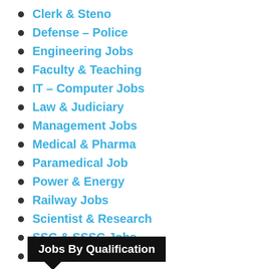Clerk & Steno
Defense – Police
Engineering Jobs
Faculty & Teaching
IT – Computer Jobs
Law & Judiciary
Management Jobs
Medical & Pharma
Paramedical Job
Power & Energy
Railway Jobs
Scientist & Research
SSC & SSSC Jobs
UPSC & PSC Jobs
Jobs By Qualification